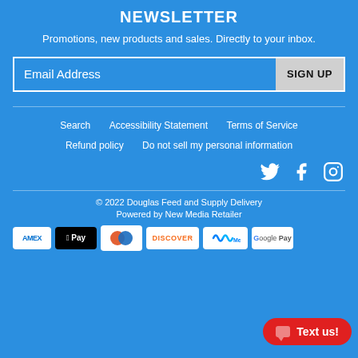NEWSLETTER
Promotions, new products and sales. Directly to your inbox.
Email Address  SIGN UP
Search
Accessibility Statement
Terms of Service
Refund policy
Do not sell my personal information
[Figure (infographic): Social media icons: Twitter, Facebook, Instagram]
© 2022 Douglas Feed and Supply Delivery
Powered by New Media Retailer
[Figure (infographic): Payment method icons: Amex, Apple Pay, Diners Club, Discover, Meta Pay, Google Pay]
Text us!